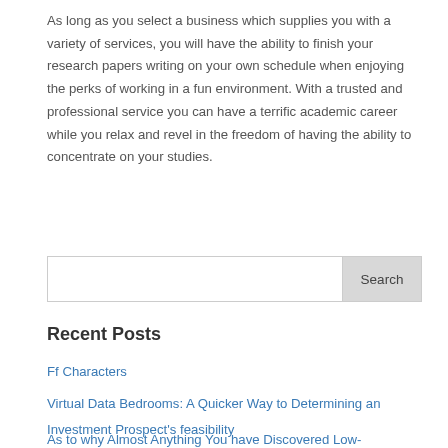As long as you select a business which supplies you with a variety of services, you will have the ability to finish your research papers writing on your own schedule when enjoying the perks of working in a fun environment. With a trusted and professional service you can have a terrific academic career while you relax and revel in the freedom of having the ability to concentrate on your studies.
Recent Posts
Ff Characters
Virtual Data Bedrooms: A Quicker Way to Determining an Investment Prospect's feasibility
As to why Almost Anything You have Discovered Low-